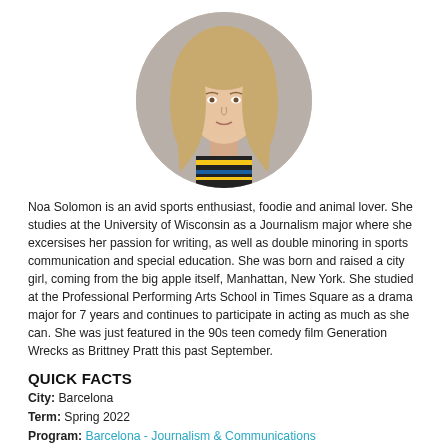[Figure (photo): Circular portrait photo of a young blonde woman wearing a striped shirt]
Noa Solomon is an avid sports enthusiast, foodie and animal lover. She studies at the University of Wisconsin as a Journalism major where she excersises her passion for writing, as well as double minoring in sports communication and special education. She was born and raised a city girl, coming from the big apple itself, Manhattan, New York. She studied at the Professional Performing Arts School in Times Square as a drama major for 7 years and continues to participate in acting as much as she can. She was just featured in the 90s teen comedy film Generation Wrecks as Brittney Pratt this past September.
QUICK FACTS
City: Barcelona
Term: Spring 2022
Program: Barcelona - Journalism & Communications